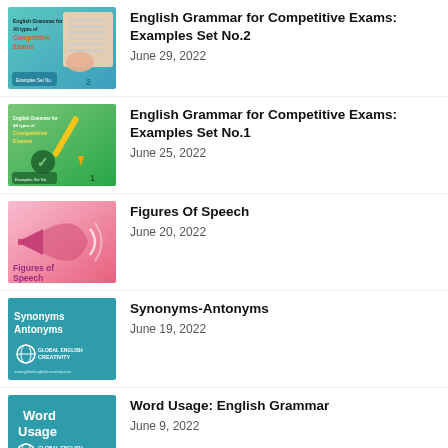[Figure (illustration): Thumbnail for English Grammar for Competitive Exams Examples Set No.2 - teal/blue background with hand writing on paper]
English Grammar for Competitive Exams: Examples Set No.2
June 29, 2022
[Figure (illustration): Thumbnail for English Grammar for Competitive Exams Examples Set No.1 - green background with pencil and checkmark]
English Grammar for Competitive Exams: Examples Set No.1
June 25, 2022
[Figure (illustration): Thumbnail for Figures of Speech - pink background with megaphone]
Figures Of Speech
June 20, 2022
[Figure (illustration): Thumbnail for Synonyms-Antonyms - dark teal background with text]
Synonyms-Antonyms
June 19, 2022
[Figure (illustration): Thumbnail for Word Usage: English Grammar - teal background with white text]
Word Usage: English Grammar
June 9, 2022